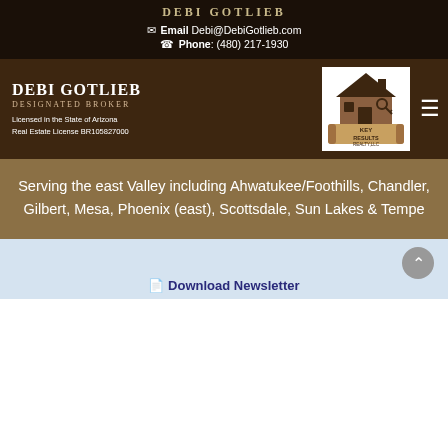DEBI GOTLIEB
Email Debi@DebiGotlieb.com
Phone: (480) 217-1930
DEBI GOTLIEB
DESIGNATED BROKER
Licensed in the State of Arizona
Real Estate License BR105827000
[Figure (logo): Key Results Realty LLC logo with house and key icon]
Serving the east Valley including Ahwatukee/Foothills, Chandler, Gilbert, Mesa, Phoenix (east), Scottsdale, Sun Lakes & Tempe
Download Newsletter